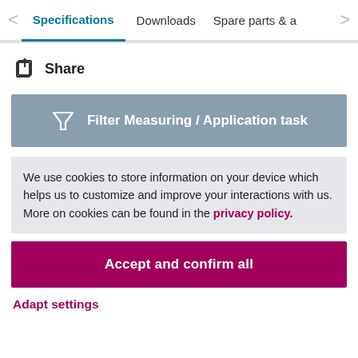Specifications | Downloads | Spare parts & a
Share
Filter Measuring / Application task
We use cookies to store information on your device which helps us to customize and improve your interactions with us. More on cookies can be found in the privacy policy.
Accept and confirm all
Adapt settings